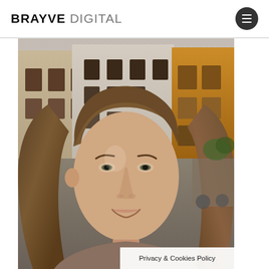BRAYVE DIGITAL
[Figure (photo): Portrait photo of a young woman with brown hair smiling, taken outdoors in what appears to be Rome, Italy, with historic buildings and a street scene in the background including a green car.]
Privacy & Cookies Policy